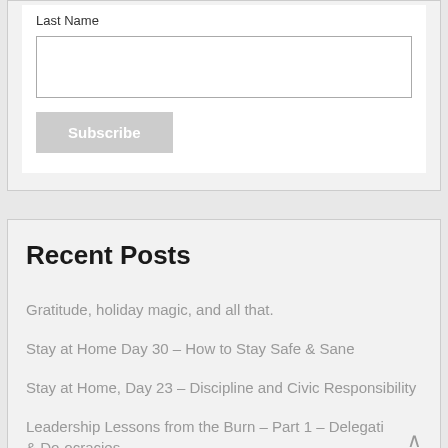Last Name
Subscribe
Recent Posts
Gratitude, holiday magic, and all that.
Stay at Home Day 30 – How to Stay Safe & Sane
Stay at Home, Day 23 – Discipline and Civic Responsibility
Leadership Lessons from the Burn – Part 1 – Delegati & Do-ocracies